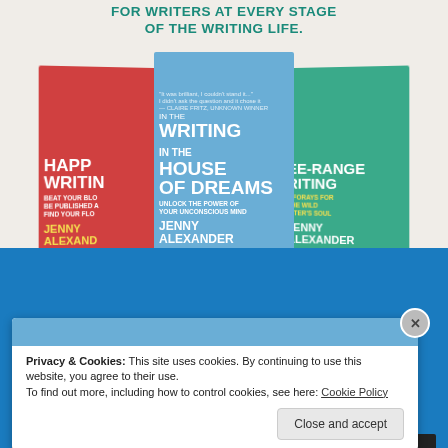FOR WRITERS AT EVERY STAGE OF THE WRITING LIFE.
[Figure (photo): Three book covers by Jenny Alexander displayed on a white wooden surface: 'Happy Writing' (red cover), 'Writing in the House of Dreams' (blue cover, center), and 'Free-Range Writing' (teal cover).]
Privacy & Cookies: This site uses cookies. By continuing to use this website, you agree to their use.
To find out more, including how to control cookies, see here: Cookie Policy
Close and accept